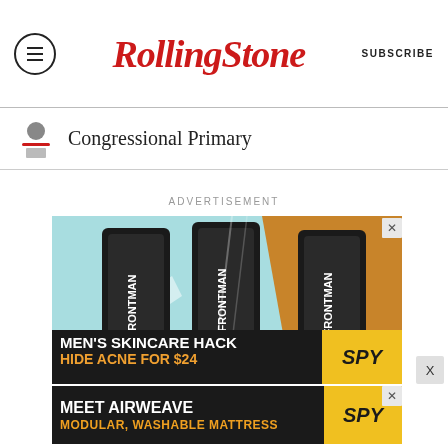Rolling Stone — SUBSCRIBE
Congressional Primary
ADVERTISEMENT
[Figure (photo): Advertisement for Frontman skincare product showing three black tubes labeled FRONTMAN against a light blue and gold geometric background. Bottom banner reads MEN'S SKINCARE HACK / HIDE ACNE FOR $24 with SPY logo.]
[Figure (photo): Second advertisement banner: MEET AIRWEAVE / MODULAR, WASHABLE MATTRESS with SPY logo on dark background.]